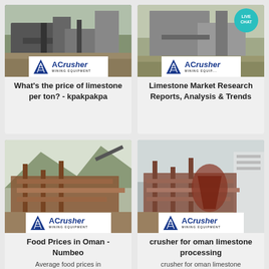[Figure (photo): Mining/crushing equipment facility photo with ACrusher Mining Equipment logo overlay, card 1]
What's the price of limestone per ton? - kpakpakpa
[Figure (photo): Mining/crushing equipment facility photo with ACrusher Mining Equipment logo overlay and Live Chat bubble, card 2]
Limestone Market Research Reports, Analysis & Trends
[Figure (photo): Mining/crushing equipment facility photo with ACrusher Mining Equipment logo overlay, card 3]
Food Prices in Oman - Numbeo
Average food prices in
[Figure (photo): Mining/crushing equipment facility photo with ACrusher Mining Equipment logo overlay, card 4]
crusher for oman limestone processing
crusher for oman limestone